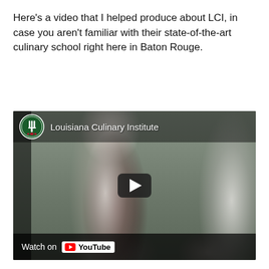Here's a video that I helped produce about LCI, in case you aren't familiar with their state-of-the-art culinary school right here in Baton Rouge.
[Figure (screenshot): YouTube video thumbnail showing Louisiana Culinary Institute. A chef in white coat and tall white hat leans over large pots in a professional kitchen. Another person in white chef uniform is visible on the right. The video has the LCI logo and name at the top, a play button in the center, and a 'Watch on YouTube' bar at the bottom.]